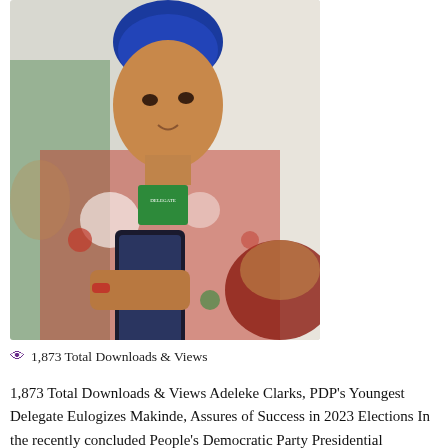[Figure (photo): A young man wearing a blue traditional cap and a colorful red, green and white patterned Nigerian attire holds a smartphone and looks at it. A badge reading 'delegate' hangs from his neck. Another person in similar attire is partially visible in the background.]
1,873 Total Downloads & Views
1,873 Total Downloads & Views Adeleke Clarks, PDP's Youngest Delegate Eulogizes Makinde, Assures of Success in 2023 Elections In the recently concluded People's Democratic Party Presidential Primaries where the Former Vice President